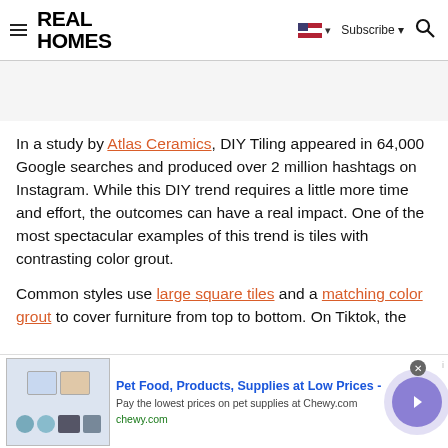REAL HOMES
In a study by Atlas Ceramics, DIY Tiling appeared in 64,000 Google searches and produced over 2 million hashtags on Instagram. While this DIY trend requires a little more time and effort, the outcomes can have a real impact. One of the most spectacular examples of this trend is tiles with contrasting color grout.
Common styles use large square tiles and a matching color grout to cover furniture from top to bottom. On Tiktok, the
[Figure (screenshot): Bottom advertisement banner for Chewy.com - Pet Food, Products, Supplies at Low Prices]